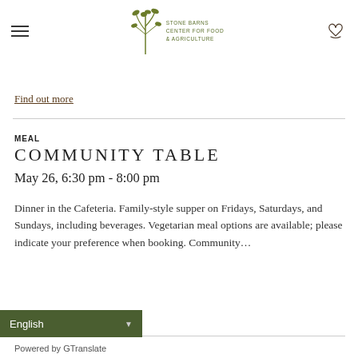[Figure (logo): Stone Barns Center for Food & Agriculture logo with plant illustration and text]
Find out more
MEAL
COMMUNITY TABLE
May 26, 6:30 pm - 8:00 pm
Dinner in the Cafeteria. Family-style supper on Fridays, Saturdays, and Sundays, including beverages. Vegetarian meal options are available; please indicate your preference when booking. Community…
Find out more
English
Powered by GTranslate